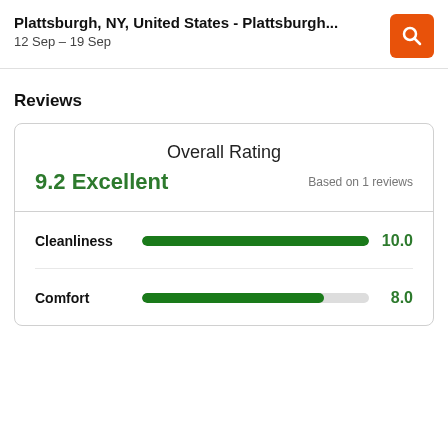Plattsburgh, NY, United States - Plattsburgh...
12 Sep – 19 Sep
Reviews
Overall Rating
9.2 Excellent
Based on 1 reviews
[Figure (bar-chart): Sub-ratings]